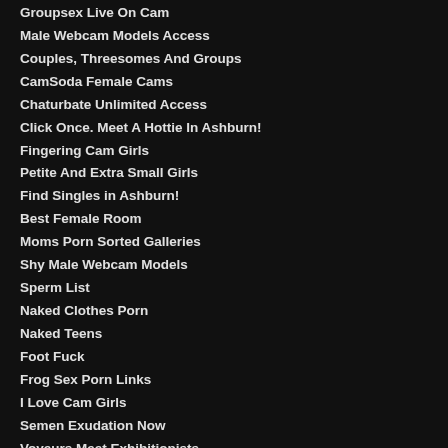Groupsex Live On Cam
Male Webcam Models Access
Couples, Threesomes And Groups
CamSoda Female Cams
Chaturbate Unlimited Access
Click Once. Meet A Hottie In Ashburn!
Fingering Cam Girls
Petite And Extra Small Girls
Find Singles in Ashburn!
Best Female Room
Moms Porn Sorted Galleries
Shy Male Webcam Models
Sperm List
Naked Clothes Porn
Naked Teens
Foot Fuck
Frog Sex Porn Links
I Love Cam Girls
Semen Exudation Now
Voyeurs Meet Exhibitionists